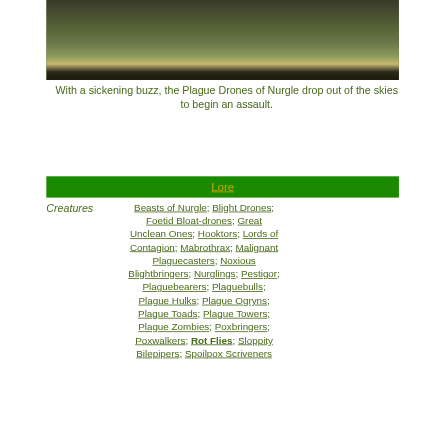[Figure (photo): Warhammer miniature scene showing Plague Drones of Nurgle on a battlefield with terrain, viewed from above/side angle. Muted greens, browns, and yellows.]
With a sickening buzz, the Plague Drones of Nurgle drop out of the skies to begin an assault.
Lore
Creatures  Beasts of Nurgle; Blight Drones; Foetid Bloat-drones; Great Unclean Ones; Hooktors; Lords of Contagion; Mabrothrax; Malignant Plaguecasters; Noxious Blightbringers; Nurglings; Pestigor; Plaguebearers; Plaguebulls; Plague Hulks; Plague Ogryns; Plague Toads; Plague Towers; Plague Zombies; Poxbringers; Poxwalkers; Rot Flies; Sloppity Bilepipers; Spoilpox Scriveners